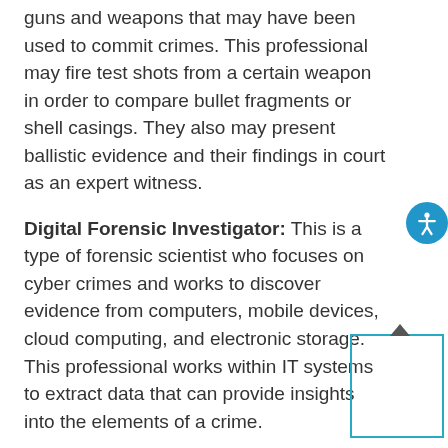guns and weapons that may have been used to commit crimes. This professional may fire test shots from a certain weapon in order to compare bullet fragments or shell casings. They also may present ballistic evidence and their findings in court as an expert witness.
Digital Forensic Investigator: This is a type of forensic scientist who focuses on cyber crimes and works to discover evidence from computers, mobile devices, cloud computing, and electronic storage. This professional works within IT systems to extract data that can provide insights into the elements of a crime.
Forensic Anthropologist: Specialists study human bones and skeletal structures to determine age,